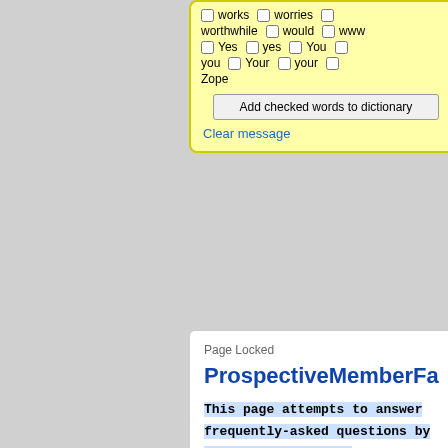[Figure (screenshot): Spell checker panel with yellow background showing checkboxes for words: works, worries, worthwhile, would, www, Yes, yes, You, you, Your, your, Zope. Has 'Add checked words to dictionary' button and 'Clear message' link.]
Page Locked
ProspectiveMemberFa
This page attempts to answer frequently-asked questions by prospective members.
Contents
1. The Most Important Question
   1. Q: Can I do <something> with